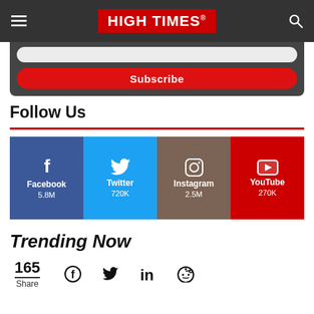HIGH TIMES
[Figure (screenshot): Subscribe input box with red Subscribe button on dark background]
Follow Us
[Figure (infographic): Social media tiles: Facebook 5.8M, Twitter 720K, Instagram 2.5M, YouTube 270K]
Trending Now
165 Share — social share icons: Facebook, Twitter, LinkedIn, Reddit